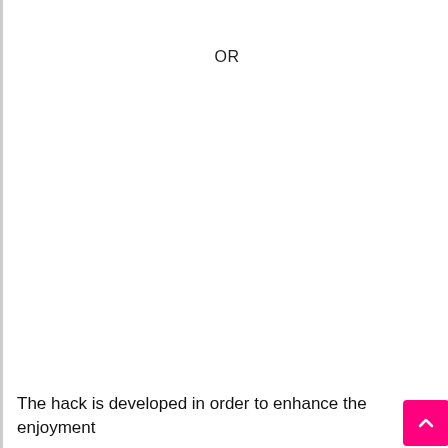OR
The hack is developed in order to enhance the enjoyment